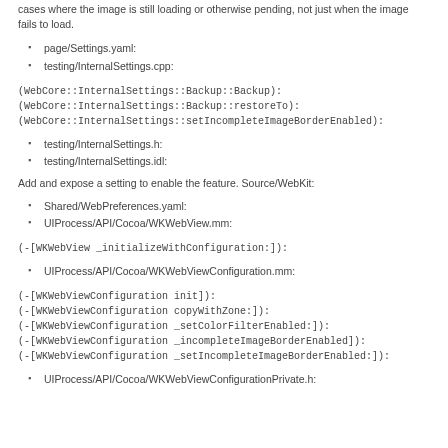cases where the image is still loading or otherwise pending, not just when the image fails to load.
page/Settings.yaml:
testing/InternalSettings.cpp:
(WebCore::InternalSettings::Backup::Backup):
(WebCore::InternalSettings::Backup::restoreTo):
(WebCore::InternalSettings::setIncompleteImageBorderEnabled):
testing/InternalSettings.h:
testing/InternalSettings.idl:
Add and expose a setting to enable the feature. Source/WebKit:
Shared/WebPreferences.yaml:
UIProcess/API/Cocoa/WKWebView.mm:
(-[WKWebView _initializeWithConfiguration:]):
UIProcess/API/Cocoa/WKWebViewConfiguration.mm:
(-[WKWebViewConfiguration init]):
(-[WKWebViewConfiguration copyWithZone:]):
(-[WKWebViewConfiguration _setColorFilterEnabled:]):
(-[WKWebViewConfiguration _incompleteImageBorderEnabled]):
(-[WKWebViewConfiguration _setIncompleteImageBorderEnabled:]):
UIProcess/API/Cocoa/WKWebViewConfigurationPrivate.h: